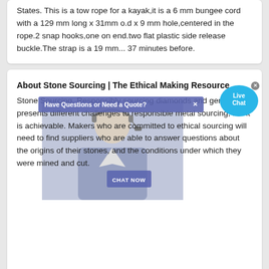States. This is a tow rope for a kayak,it is a 6 mm bungee cord with a 129 mm long x 31mm o.d x 9 mm hole,centered in the rope.2 snap hooks,one on end.two flat plastic side release buckle.The strap is a 19 mm... 37 minutes before.
About Stone Sourcing | The Ethical Making Resource
Stone Sourcing. Responsibly sourcing diamonds and gemstones presents different challenges to responsible metal sourcing, but it is achievable. Makers who are committed to ethical sourcing will need to find suppliers who are able to answer questions about the origins of their stones, and the conditions under which they were mined and cut.
List of companies in Worldwide